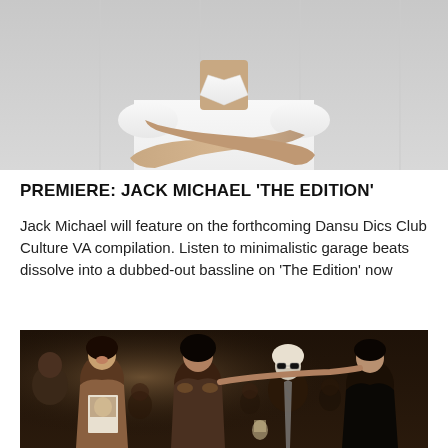[Figure (photo): Black and white photo of a person in a white t-shirt with arms crossed, cropped at the torso/shoulders]
PREMIERE: JACK MICHAEL 'THE EDITION'
Jack Michael will feature on the forthcoming Dansu Dics Club Culture VA compilation. Listen to minimalistic garage beats dissolve into a dubbed-out bassline on 'The Edition' now
[Figure (photo): Black and white/sepia photograph of a group of people at what appears to be a glamorous party or club event, featuring several recognizable figures socializing]